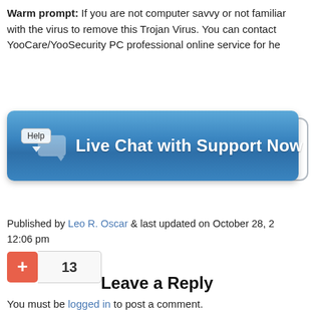Warm prompt: If you are not computer savvy or not familiar with the virus to remove this Trojan Virus. You can contact YooCare/YooSecurity PC professional online service for he
[Figure (screenshot): Blue gradient button with Help chat bubble icon and text 'Live Chat with Support Now']
Published by Leo R. Oscar & last updated on October 28, 2... 12:06 pm
[Figure (other): Vote/like button with orange plus sign and count of 13]
Leave a Reply
You must be logged in to post a comment.